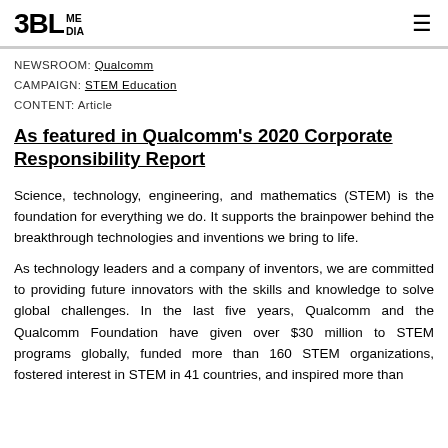3BL MEDIA
NEWSROOM: Qualcomm
CAMPAIGN: STEM Education
CONTENT: Article
As featured in Qualcomm's 2020 Corporate Responsibility Report
Science, technology, engineering, and mathematics (STEM) is the foundation for everything we do. It supports the brainpower behind the breakthrough technologies and inventions we bring to life.
As technology leaders and a company of inventors, we are committed to providing future innovators with the skills and knowledge to solve global challenges. In the last five years, Qualcomm and the Qualcomm Foundation have given over $30 million to STEM programs globally, funded more than 160 STEM organizations, fostered interest in STEM in 41 countries, and inspired more than